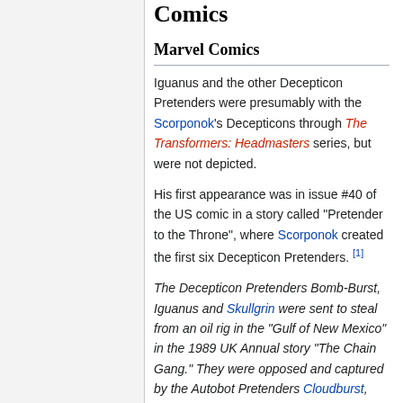Comics
Marvel Comics
Iguanus and the other Decepticon Pretenders were presumably with the Scorponok's Decepticons through The Transformers: Headmasters series, but were not depicted.
His first appearance was in issue #40 of the US comic in a story called "Pretender to the Throne", where Scorponok created the first six Decepticon Pretenders. [1]
The Decepticon Pretenders Bomb-Burst, Iguanus and Skullgrin were sent to steal from an oil rig in the "Gulf of New Mexico" in the 1989 UK Annual story "The Chain Gang." They were opposed and captured by the Autobot Pretenders Cloudburst, Landmine and Splashdown.